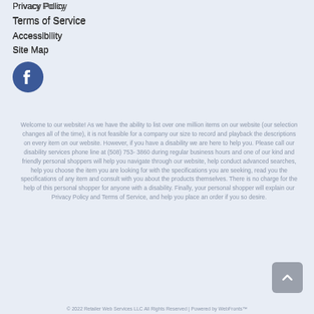Privacy Policy
Terms of Service
Accessibility
Site Map
[Figure (logo): Facebook circular logo icon in blue with white 'f' letter]
Welcome to our website! As we have the ability to list over one million items on our website (our selection changes all of the time), it is not feasible for a company our size to record and playback the descriptions on every item on our website. However, if you have a disability we are here to help you. Please call our disability services phone line at (508) 753- 3860 during regular business hours and one of our kind and friendly personal shoppers will help you navigate through our website, help conduct advanced searches, help you choose the item you are looking for with the specifications you are seeking, read you the specifications of any item and consult with you about the products themselves. There is no charge for the help of this personal shopper for anyone with a disability. Finally, your personal shopper will explain our Privacy Policy and Terms of Service, and help you place an order if you so desire.
© 2022 Retailer Web Services LLC All Rights Reserved | Powered by WebFronts™